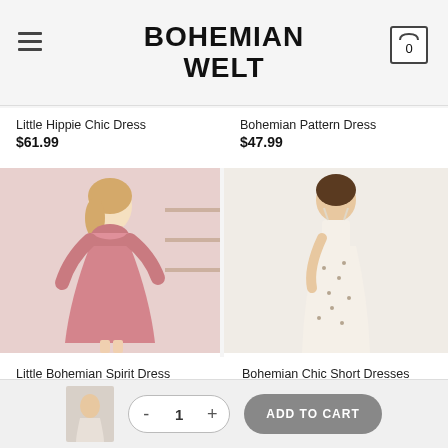BOHEMIAN WELT
Little Hippie Chic Dress
$61.99
Bohemian Pattern Dress
$47.99
[Figure (photo): Woman in pink long-sleeve bohemian dress with ruffle detail and tie waist]
[Figure (photo): Woman in white floral spaghetti-strap midi dress]
Little Bohemian Spirit Dress
$51.99
Bohemian Chic Short Dresses
$43.99